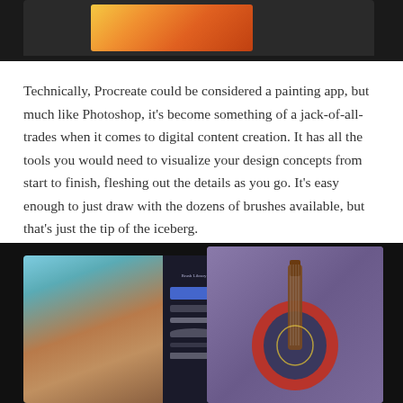[Figure (photo): Top portion of an iPad/tablet screen showing digital artwork, on a dark background — partially visible at top of page]
Technically, Procreate could be considered a painting app, but much like Photoshop, it's become something of a jack-of-all-trades when it comes to digital content creation. It has all the tools you would need to visualize your design concepts from start to finish, fleshing out the details as you go. It's easy enough to just draw with the dozens of brushes available, but that's just the tip of the iceberg.
[Figure (photo): Two iPads on a dark background: left tablet shows a digital portrait painting with brush library panel open; right tablet shows a 3D rendered electric guitar on a purple background]